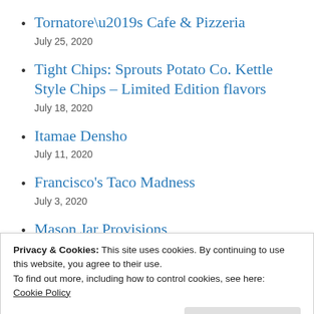Tornatore’s Cafe & Pizzeria
July 25, 2020
Tight Chips: Sprouts Potato Co. Kettle Style Chips – Limited Edition flavors
July 18, 2020
Itamae Densho
July 11, 2020
Francisco’s Taco Madness
July 3, 2020
Mason Jar Provisions
June 27, 2020
Privacy & Cookies: This site uses cookies. By continuing to use this website, you agree to their use.
To find out more, including how to control cookies, see here: Cookie Policy
Close and accept
June 14, 2020